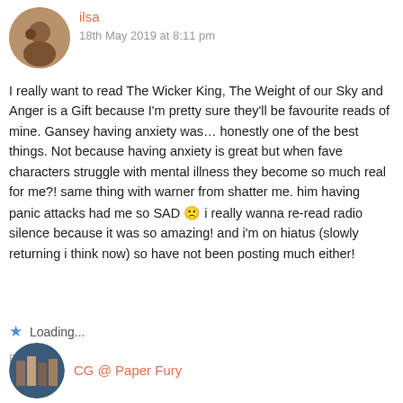[Figure (photo): Circular avatar photo of user ilsa]
ilsa
18th May 2019 at 8:11 pm
I really want to read The Wicker King, The Weight of our Sky and Anger is a Gift because I'm pretty sure they'll be favourite reads of mine. Gansey having anxiety was… honestly one of the best things. Not because having anxiety is great but when fave characters struggle with mental illness they become so much real for me?! same thing with warner from shatter me. him having panic attacks had me so SAD 🙁 i really wanna re-read radio silence because it was so amazing! and i'm on hiatus (slowly returning i think now) so have not been posting much either!
⭐ Loading...
REPLY
[Figure (photo): Circular avatar photo of user CG @ Paper Fury]
CG @ Paper Fury